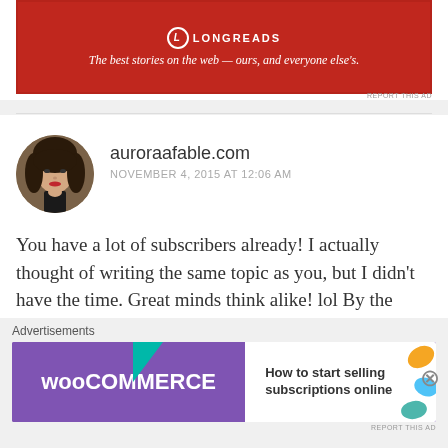[Figure (other): Longreads advertisement banner with red background, logo and tagline: The best stories on the web — ours, and everyone else's.]
REPORT THIS AD
[Figure (photo): Circular avatar photo of a young woman with dark hair and red lips]
auroraafable.com
NOVEMBER 4, 2015 AT 12:06 AM
You have a lot of subscribers already! I actually thought of writing the same topic as you, but I didn't have the time. Great minds think alike! lol By the way, number 9 is the hardest to learn in my opinion.
Liked by 1 person
Advertisements
[Figure (other): WooCommerce advertisement banner: How to start selling subscriptions online]
REPORT THIS AD